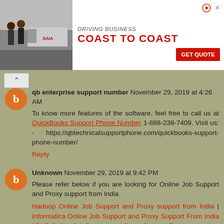[Figure (photo): Advertisement banner for a trucking/logistics company (Saia) showing two workers near a truck with text 'DRIVING BUSINESS COAST TO COAST' and a red 'GET QUOTE' button]
qb enterprise support number November 29, 2019 at 4:26 AM
To know more features of the software, feel free to call us at QuickBooks Support Phone Number 1-888-238-7409. Visit us: - https://qbtechnicalsupportphone.com/quickbooks-support-phone-number/
Reply
Unknown November 29, 2019 at 9:42 PM
Please refer below if you are looking for Online Job Support and Proxy support from India
Hadoop Online Job Support and Proxy support from India | Informatica Online Job Support and Proxy Support From India | PHP Online Job Support and Proxy Support From